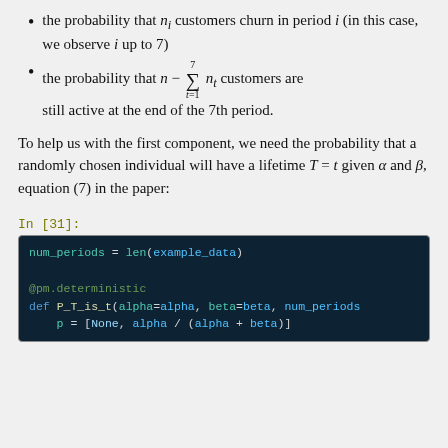the probability that n_i customers churn in period i (in this case, we observe i up to 7)
the probability that n − Σ(t=1 to 7) n_t customers are still active at the end of the 7th period.
To help us with the first component, we need the probability that a randomly chosen individual will have a lifetime T = t given α and β, equation (7) in the paper:
In [31]:
num_periods = len(example_data)

@pm.deterministic
def P_T_is_t(alpha=alpha, beta=beta, num_periods
    p = [None, alpha / (alpha + beta)]